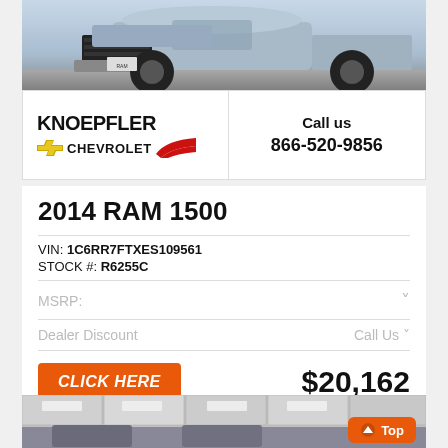[Figure (photo): Front view of a light blue 2014 RAM 1500 pickup truck photographed outdoors]
[Figure (logo): Knoepfler Chevrolet dealer logo with bowtie emblem and red swoosh]
Call us
866-520-9856
2014 RAM 1500
VIN: 1C6RR7FTXES109561
STOCK #: R6255C
MSRP:
Dealer Discount
Call Us
CLICK HERE
$20,162
[Figure (photo): Interior/showroom ceiling photo of a car dealership with fluorescent lighting]
Top